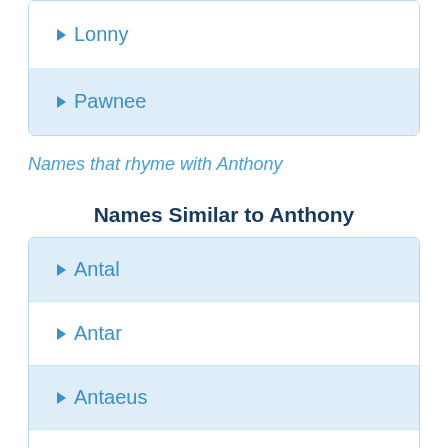Lonny
Pawnee
Names that rhyme with Anthony
Names Similar to Anthony
Antal
Antar
Antaeus
Antares